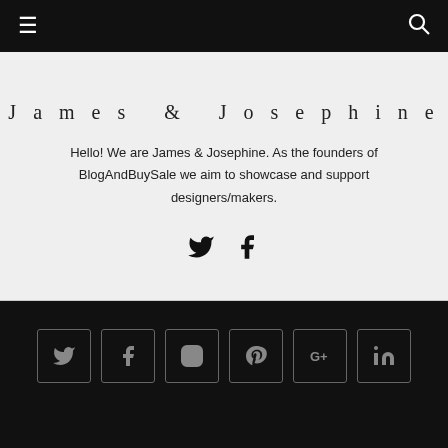≡ [menu icon] | [search icon]
James & Josephine
Hello! We are James & Josephine. As the founders of BlogAndBuySale we aim to showcase and support designers/makers.
[Figure (infographic): Twitter and Facebook social media icons inline]
Social media icon links: Twitter, Facebook, Instagram, Pinterest, Google+, LinkedIn